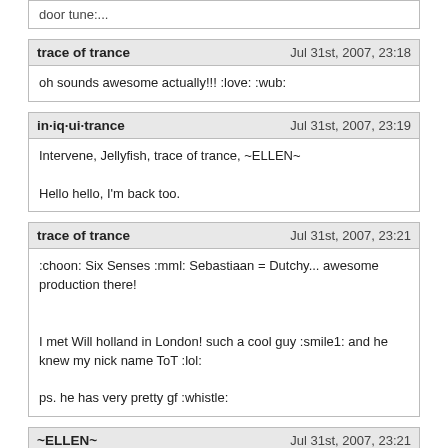door tune:...
trace of trance — Jul 31st, 2007, 23:18
oh sounds awesome actually!!! :love: :wub:
in·iq·ui·trance — Jul 31st, 2007, 23:19
Intervene, Jellyfish, trace of trance, ~ELLEN~

Hello hello, I'm back too.
trace of trance — Jul 31st, 2007, 23:21
:choon: Six Senses :mml: Sebastiaan = Dutchy... awesome production there!

I met Will holland in London! such a cool guy :smile1: and he knew my nick name ToT :lol:

ps. he has very pretty gf :whistle:
~ELLEN~ — Jul 31st, 2007, 23:21
ok im back!!! :super:
cool tune!!!
Welcome back Finnnnn!! Did ya fly home? :lol:

Sounding very pleasant so far :music: :smile1: :music: